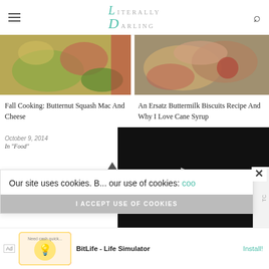Literally Darling - navigation header with logo, hamburger menu, and search icon
[Figure (photo): Food photo showing butternut squash mac and cheese dish with broccoli and red accents]
[Figure (photo): Food photo showing buttermilk biscuits with jam/cane syrup]
Fall Cooking: Butternut Squash Mac And Cheese
October 9, 2014
In "Food"
An Ersatz Buttermilk Biscuits Recipe And Why I Love Cane Syrup
[Figure (screenshot): Black video player overlay with play button triangle]
Our site uses cookies. B... our use of cookies: coo...
I ACCEPT USE OF COOKIES
[Figure (screenshot): Mobile advertisement for BitLife - Life Simulator app with Install button]